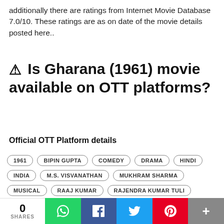additionally there are ratings from Internet Movie Database 7.0/10. These ratings are as on date of the movie details posted here..
⚠ Is Gharana (1961) movie available on OTT platforms?
Official OTT Platform details
1961
BIPIN GUPTA
COMEDY
DRAMA
HINDI
INDIA
M.S. VISVANATHAN
MUKHRAM SHARMA
MUSICAL
RAAJ KUMAR
RAJENDRA KUMAR TULI
0 SHARES | WhatsApp | Facebook | Twitter | Pinterest | More